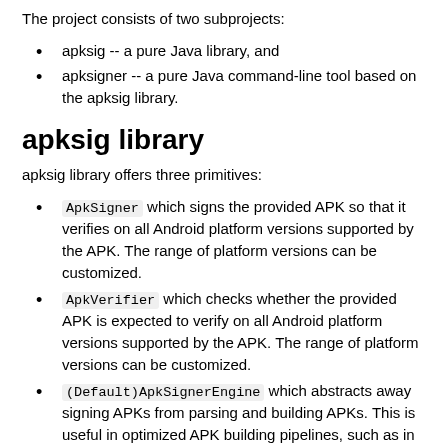The project consists of two subprojects:
apksig -- a pure Java library, and
apksigner -- a pure Java command-line tool based on the apksig library.
apksig library
apksig library offers three primitives:
ApkSigner which signs the provided APK so that it verifies on all Android platform versions supported by the APK. The range of platform versions can be customized.
ApkVerifier which checks whether the provided APK is expected to verify on all Android platform versions supported by the APK. The range of platform versions can be customized.
(Default)ApkSignerEngine which abstracts away signing APKs from parsing and building APKs. This is useful in optimized APK building pipelines, such as in